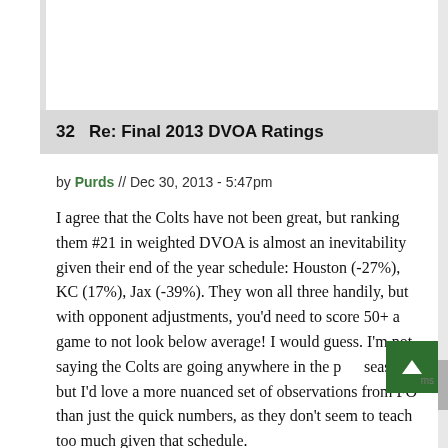32   Re: Final 2013 DVOA Ratings
by Purds // Dec 30, 2013 - 5:47pm
I agree that the Colts have not been great, but ranking them #21 in weighted DVOA is almost an inevitability given their end of the year schedule: Houston (-27%), KC (17%), Jax (-39%). They won all three handily, but with opponent adjustments, you'd need to score 50+ a game to not look below average! I would guess. I'm not saying the Colts are going anywhere in the post season, but I'd love a more nuanced set of observations from FO than just the quick numbers, as they don't seem to teach too much given that schedule.